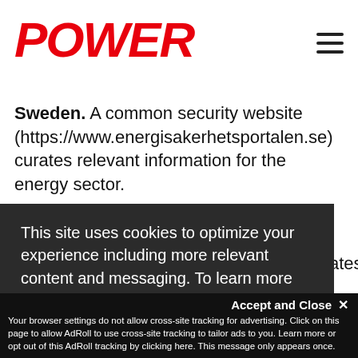POWER
Sweden. A common security website (https://www.energisakerhetsportalen.se) curates relevant information for the energy sector.
This site uses cookies to optimize your experience including more relevant content and messaging. To learn more about disabling cookies in your browser, click here. By continuing to use this site, you accept our use of cookies. For more information, view our updated Privacy Policy.
I consent
Accept and Close ✕
Your browser settings do not allow cross-site tracking for advertising. Click on this page to allow AdRoll to use cross-site tracking to tailor ads to you. Learn more or opt out of this AdRoll tracking by clicking here. This message only appears once.